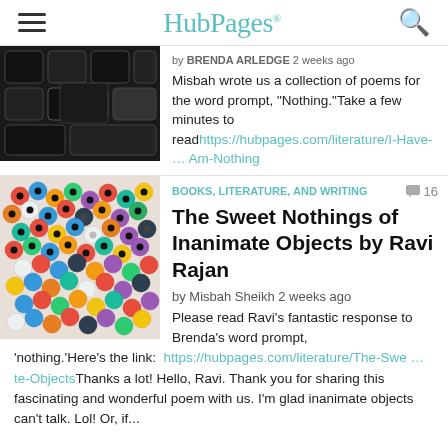HubPages
[Figure (photo): Close-up photo of a dark laptop keyboard]
by BRENDA ARLEDGE 2 weeks ago
Misbah wrote us a collection of poems for the word prompt, "Nothing."Take a few minutes to readhttps://hubpages.com/literature/I-Have- … Am-Nothing
BOOKS, LITERATURE, AND WRITING
The Sweet Nothings of Inanimate Objects by Ravi Rajan
[Figure (photo): Colorful small plastic beads or fuse beads piled together]
by Misbah Sheikh 2 weeks ago
Please read Ravi's fantastic response to Brenda's word prompt, 'nothing.'Here's the link:  https://hubpages.com/literature/The-Swe … te-ObjectsThanks a lot! Hello, Ravi. Thank you for sharing this fascinating and wonderful poem with us. I'm glad inanimate objects can't talk. Lol! Or, if...